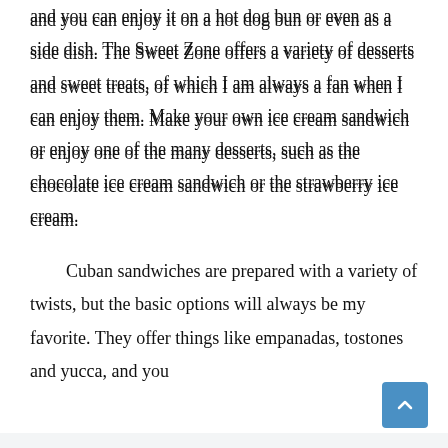and you can enjoy it on a hot dog bun or even as a side dish. The Sweet Zone offers a variety of desserts and sweet treats, of which I am always a fan when I can enjoy them. Make your own ice cream sandwich or enjoy one of the many desserts, such as the chocolate ice cream sandwich or the strawberry ice cream.

Cuban sandwiches are prepared with a variety of twists, but the basic options will always be my favorite. They offer things like empanadas, tostones and yucca, and you